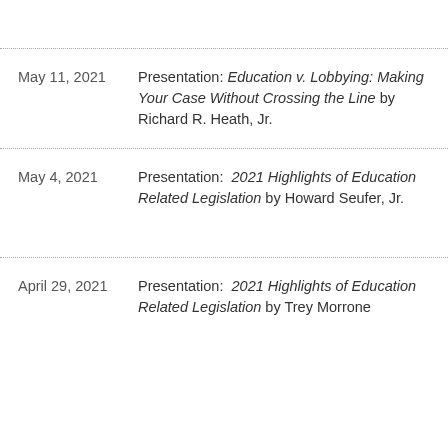May 11, 2021 — Presentation: Education v. Lobbying: Making Your Case Without Crossing the Line by Richard R. Heath, Jr.
May 4, 2021 — Presentation: 2021 Highlights of Education Related Legislation by Howard Seufer, Jr.
April 29, 2021 — Presentation: 2021 Highlights of Education Related Legislation by Trey Morrone